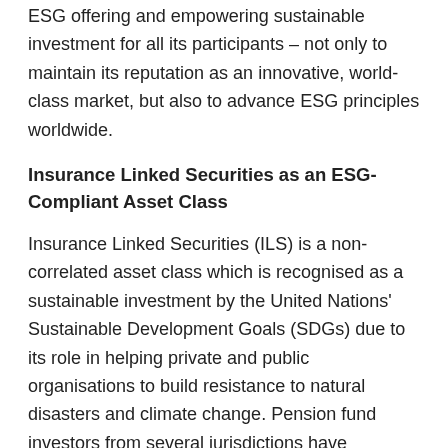ESG offering and empowering sustainable investment for all its participants – not only to maintain its reputation as an innovative, world-class market, but also to advance ESG principles worldwide.
Insurance Linked Securities as an ESG-Compliant Asset Class
Insurance Linked Securities (ILS) is a non-correlated asset class which is recognised as a sustainable investment by the United Nations' Sustainable Development Goals (SDGs) due to its role in helping private and public organisations to build resistance to natural disasters and climate change. Pension fund investors from several jurisdictions have repeatedly highlighted the ESG qualities of ILS investments